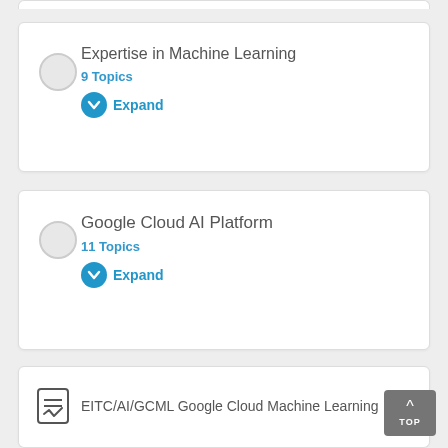Expertise in Machine Learning
9 Topics
Expand
Google Cloud AI Platform
11 Topics
Expand
EITC/AI/GCML Google Cloud Machine Learning